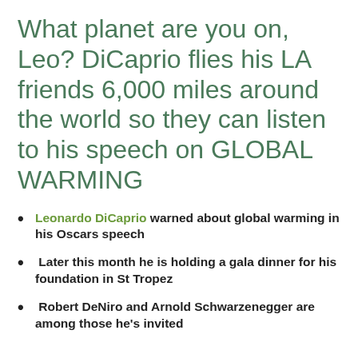What planet are you on, Leo? DiCaprio flies his LA friends 6,000 miles around the world so they can listen to his speech on GLOBAL WARMING
Leonardo DiCaprio warned about global warming in his Oscars speech
Later this month he is holding a gala dinner for his foundation in St Tropez
Robert DeNiro and Arnold Schwarzenegger are among those he's invited